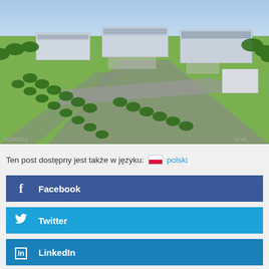[Figure (photo): Aerial perspective rendering of an industrial or logistics park complex with multiple warehouse/office buildings, parking lots, green trees lining roads, and landscaped grounds.]
Ten post dostępny jest także w języku: polski
Facebook
Twitter
LinkedIn